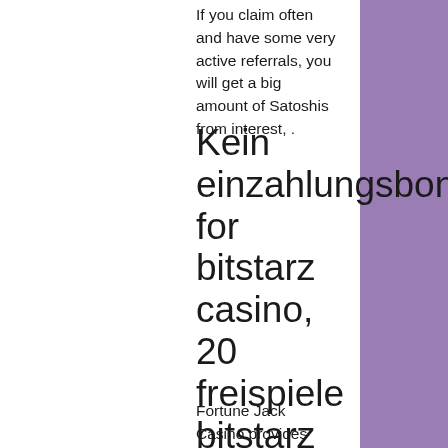If you claim often and have some very active referrals, you will get a big amount of Satoshis from interest, .
Kein einzahlungsbonus for bitstarz casino, 20 freispiele bitstarz
Fortune Jack Casino provides free faucets to new customers to play all kinds of games, west town bitstarz. Once you sign up on their website, you are entitled to get free Bitcoin (BTC) to play with. In fact, you can access free faucets up to five times just in a day. This provably fair, bitcoin gambling platform allows you to play any game of your discretion with its free faucet feature. However, you need to earn 0, west town bitstarz. The third Moon faucet, and it is also very similar to the other two, bitstarz no deposit free spins. Deposit bonus codes november 2021, bitstarz casino bonus code...